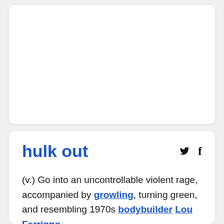[Figure (other): White card placeholder area (advertisement or image area) at the top of the page]
hulk out
(v.) Go into an uncontrollable violent rage, accompanied by growling, turning green, and resembling 1970s bodybuilder Lou Ferrigno.
From the...